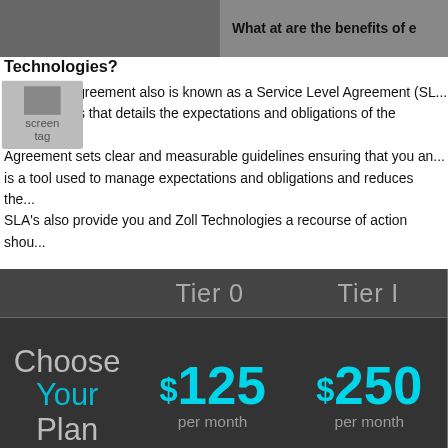[Figure (screenshot): Screenshot of a webpage for Zoll Technologies showing a support agreement pricing page with tiers. Top has a partial heading 'What at are the benefits of e...' and 'Technologies?'. Body text describes Support Agreements/SLAs. A dark-themed pricing table shows 'Choose Your Plan' with Tier 0 at $125/month and Tier I at $250/month. Feature rows show 'On-Site Support: 4-Hours / 8-Hours' and 'Incident Response *: Adhoc / 2-'. A cookie consent banner overlays part. Social sharing bar at bottom with Facebook, Twitter, LinkedIn, SMS, and Share buttons.]
What at are the benefits of e... Technologies?
A Support Agreement also is known as a Service Level Agreement (SL... Technologies that details the expectations and obligations of the busine... Agreement sets clear and measurable guidelines ensuring that you an... is a tool used to manage expectations and obligations and reduces the... SLA's also provide you and Zoll Technologies a recourse of action shou...
|  | Tier 0 | Tier I |
| --- | --- | --- |
| Choose Your Plan | $125 per month | $250 per month |
| On-Site Support | 4-Hours | 8-Hours |
| Incident Response * | Adhoc | 2- |
f  [Twitter]  in  SMS  [Share]